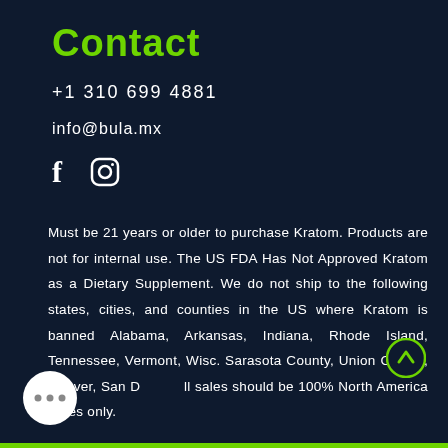Contact
+1 310 699 4881
info@bula.mx
[Figure (other): Facebook and Instagram social media icons]
Must be 21 years or older to purchase Kratom. Products are not for internal use. The US FDA Has Not Approved Kratom as a Dietary Supplement. We do not ship to the following states, cities, and counties in the US where Kratom is banned Alabama, Arkansas, Indiana, Rhode Island, Tennessee, Vermont, Wisconsin. Sarasota County, Union County, Denver, San Diego. All sales should be 100% North America Sales only.